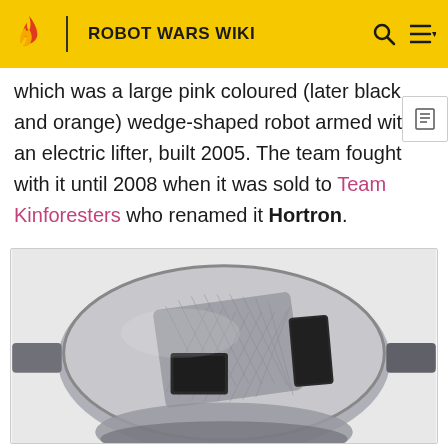ROBOT WARS WIKI
which was a large pink coloured (later black and orange) wedge-shaped robot armed with an electric lifter, built 2005. The team fought with it until 2008 when it was sold to Team Kinforesters who renamed it Hortron.
[Figure (photo): Top-down photograph of a circular silver metallic robot with a diamond-plate textured panel on top and mechanical components visible]